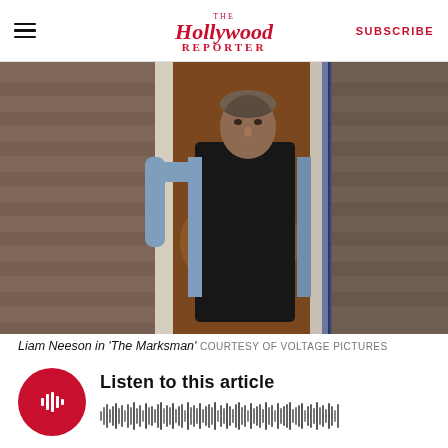The Hollywood Reporter — SUBSCRIBE
[Figure (photo): Liam Neeson standing in a doorway in a dark vest over a light blue shirt, scene from 'The Marksman']
Liam Neeson in 'The Marksman'  COURTESY OF VOLTAGE PICTURES
Listen to this article